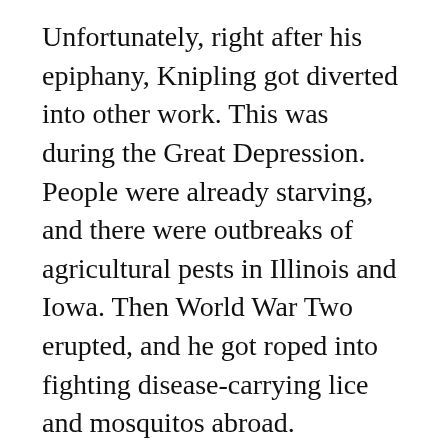Unfortunately, right after his epiphany, Knipling got diverted into other work. This was during the Great Depression. People were already starving, and there were outbreaks of agricultural pests in Illinois and Iowa. Then World War Two erupted, and he got roped into fighting disease-carrying lice and mosquitos abroad.
Meanwhile, he also needed a way to actually sterilize the screwworm flies. At first his team tried spraying them with noxious chemicals. But they couldn't find one that rendered them sterile. And again, Knipling